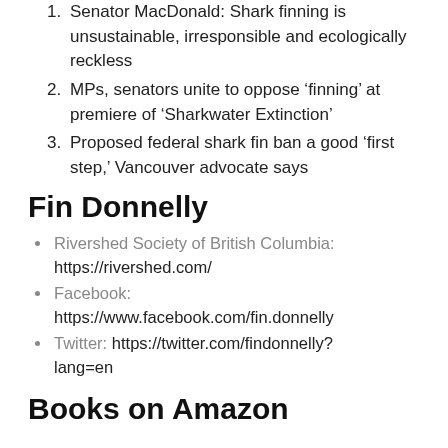Senator MacDonald: Shark finning is unsustainable, irresponsible and ecologically reckless
MPs, senators unite to oppose ‘finning’ at premiere of ‘Sharkwater Extinction’
Proposed federal shark fin ban a good ‘first step,’ Vancouver advocate says
Fin Donnelly
Rivershed Society of British Columbia: https://rivershed.com/
Facebook: https://www.facebook.com/fin.donnelly
Twitter: https://twitter.com/findonnelly?lang=en
Books on Amazon